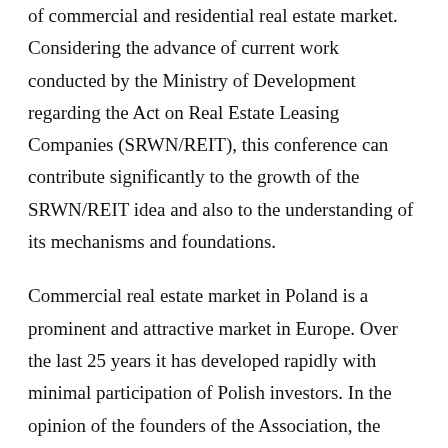of commercial and residential real estate market. Considering the advance of current work conducted by the Ministry of Development regarding the Act on Real Estate Leasing Companies (SRWN/REIT), this conference can contribute significantly to the growth of the SRWN/REIT idea and also to the understanding of its mechanisms and foundations.
Commercial real estate market in Poland is a prominent and attractive market in Europe. Over the last 25 years it has developed rapidly with minimal participation of Polish investors. In the opinion of the founders of the Association, the current status can change only through the introduction of the legislation and best practices, with great benefit for Polish investors and the Polish economy.
We invited to join Discussion Panels and Speeches at the Conference all specialists in the real estate market participating in polish legislation process. They all represent wide range of